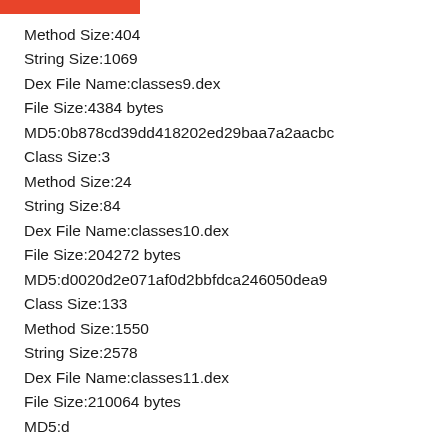Method Size:404
String Size:1069
Dex File Name:classes9.dex
File Size:4384 bytes
MD5:0b878cd39dd418202ed29baa7a2aacbc
Class Size:3
Method Size:24
String Size:84
Dex File Name:classes10.dex
File Size:204272 bytes
MD5:d0020d2e071af0d2bbfdca246050dea9
Class Size:133
Method Size:1550
String Size:2578
Dex File Name:classes11.dex
File Size:210064 bytes
MD5:d...